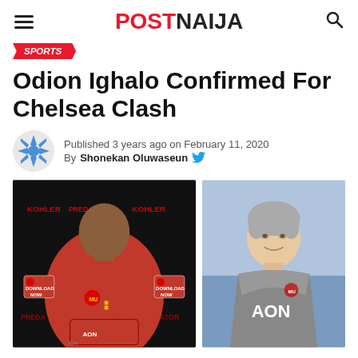POST NAIJA
SPORTS
Odion Ighalo Confirmed For Chelsea Clash
Published 3 years ago on February 11, 2020
By Shonekan Oluwaseun
[Figure (photo): Two-photo composite: left shows Odion Ighalo in Manchester United red kit posing in front of Kohler/Predator branded backdrop; right shows Ole Gunnar Solskjaer in a grey Manchester United training top.]